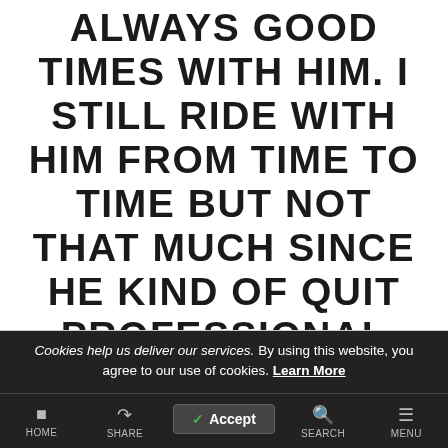ALWAYS GOOD TIMES WITH HIM. I STILL RIDE WITH HIM FROM TIME TO TIME BUT NOT THAT MUCH SINCE HE KIND OF QUIT PROFESSIONAL SNOWBOARDING AND IS MORE FOCUSSED ON JUST ENJOYING LIFE AND TRAVELLING."
Cookies help us deliver our services. By using this website, you agree to our use of cookies. Learn More
HOME | SHARE | SEARCH | MENU | Accept